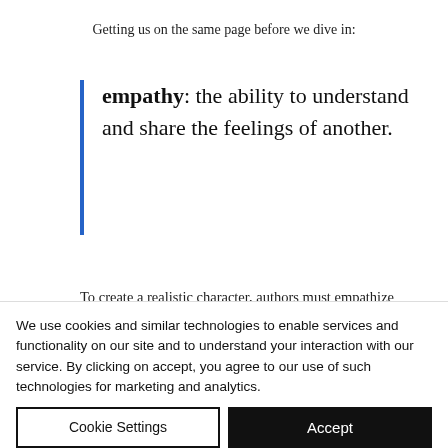Getting us on the same page before we dive in:
empathy: the ability to understand and share the feelings of another.
To create a realistic character, authors must empathize with their point of view, even if they
We use cookies and similar technologies to enable services and functionality on our site and to understand your interaction with our service. By clicking on accept, you agree to our use of such technologies for marketing and analytics.
Cookie Settings
Accept